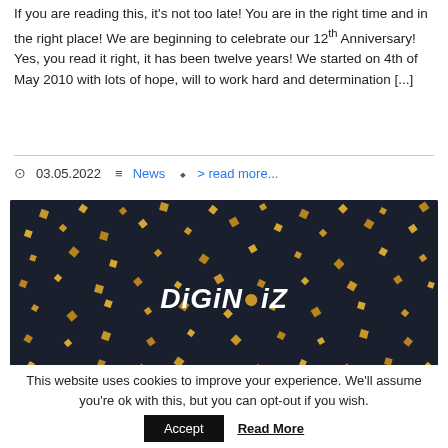If you are reading this, it's not too late! You are in the right time and in the right place! We are beginning to celebrate our 12th Anniversary! Yes, you read it right, it has been twelve years! We started on 4th of May 2010 with lots of hope, will to work hard and determination [...]
03.05.2022  News  > read more...
[Figure (photo): Dark background with gold confetti and DiGiNOiZ logo text, with 'TH' visible at bottom right, anniversary celebration image]
This website uses cookies to improve your experience. We'll assume you're ok with this, but you can opt-out if you wish.
Accept  Read More